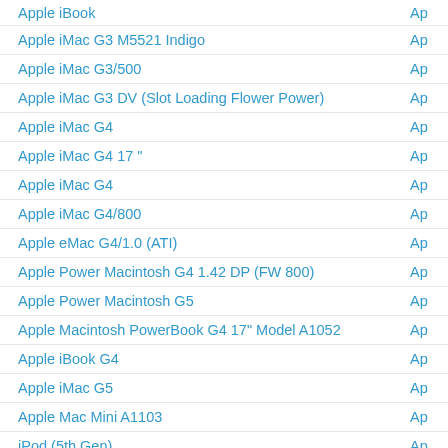Apple iBook | Ap
Apple iMac G3 M5521 Indigo | Ap
Apple iMac G3/500 | Ap
Apple iMac G3 DV (Slot Loading Flower Power) | Ap
Apple iMac G4 | Ap
Apple iMac G4 17 " | Ap
Apple iMac G4 | Ap
Apple iMac G4/800 | Ap
Apple eMac G4/1.0 (ATI) | Ap
Apple Power Macintosh G4 1.42 DP (FW 800) | Ap
Apple Power Macintosh G5 | Ap
Apple Macintosh PowerBook G4 17" Model A1052 | Ap
Apple iBook G4 | Ap
Apple iMac G5 | Ap
Apple Mac Mini A1103 | Ap
iPod (5th Gen) | Ap